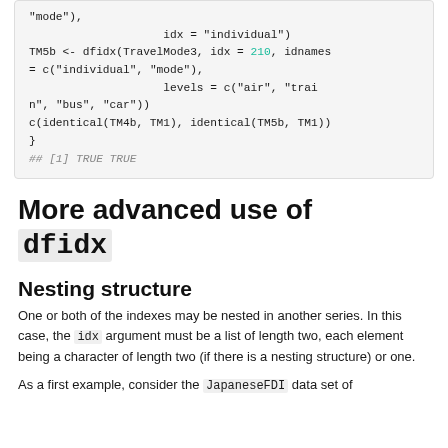"mode"),
    idx = "individual")
TM5b <- dfidx(TravelMode3, idx = 210, idnames = c("individual", "mode"),
                levels = c("air", "train", "bus", "car"))
c(identical(TM4b, TM1), identical(TM5b, TM1))
}
## [1] TRUE TRUE
More advanced use of dfidx
Nesting structure
One or both of the indexes may be nested in another series. In this case, the idx argument must be a list of length two, each element being a character of length two (if there is a nesting structure) or one.
As a first example, consider the JapaneseFDI data set of